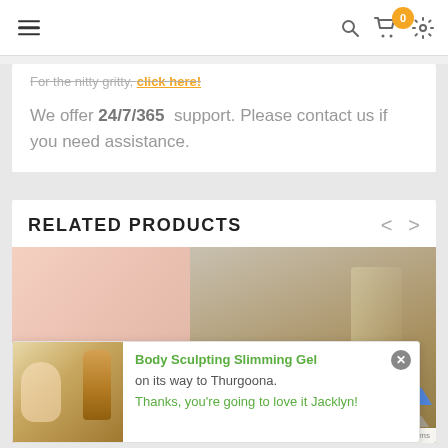Navigation bar with hamburger menu, search icon, cart with 0 items, settings icon
For the nitty gritty, click here!
We offer 24/7/365 support. Please contact us if you need assistance.
RELATED PRODUCTS
[Figure (photo): Product image showing body sculpting gel tube and slim figure]
Body Sculpting Slimming Gel on its way to Thurgoona. Thanks, you're going to love it Jacklyn!